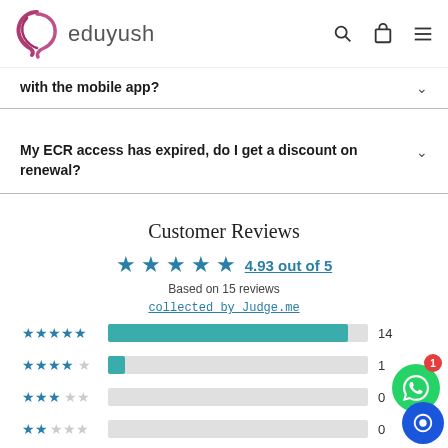eduyush
with the mobile app?
My ECR access has expired, do I get a discount on renewal?
Customer Reviews
4.93 out of 5
Based on 15 reviews
collected by Judge.me
[Figure (bar-chart): Rating distribution]